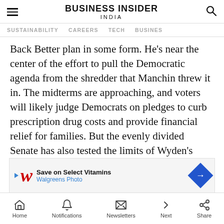BUSINESS INSIDER INDIA
SUSTAINABILITY  CAREERS  TECH  BUSINESS
Back Better plan in some form. He's near the center of the effort to pull the Democratic agenda from the shredder that Manchin threw it in. The midterms are approaching, and voters will likely judge Democrats on pledges to curb prescription drug costs and provide financial relief for families. But the evenly divided Senate has also tested the limits of Wyden's optimism in a chamber where every Democrat is a president with v
[Figure (other): Walgreens advertisement banner: Save on Select Vitamins - Walgreens Photo]
Home  Notifications  Newsletters  Next  Share